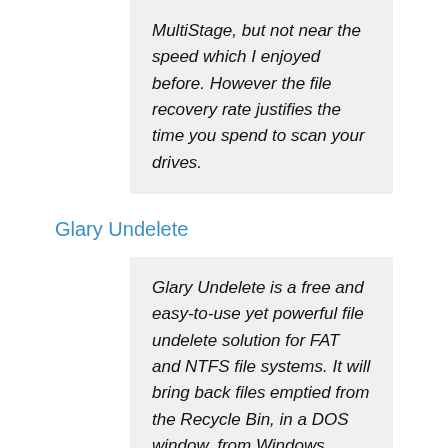MultiStage, but not near the speed which I enjoyed before. However the file recovery rate justifies the time you spend to scan your drives.
Glary Undelete
Glary Undelete is a free and easy-to-use yet powerful file undelete solution for FAT and NTFS file systems. It will bring back files emptied from the Recycle Bin, in a DOS window, from Windows Explorer with the SHIFT key held down. It will even